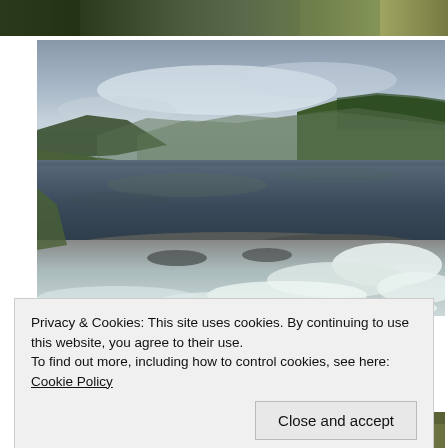[Figure (photo): Top cropped strip of a nature/forest photo, partially visible at top of page]
[Figure (photo): Scenic fjord and river photograph showing calm mountain lake reflecting green hills, with white-water rapids in the foreground and green forested mountainsides and overcast sky in the background]
Privacy & Cookies: This site uses cookies. By continuing to use this website, you agree to their use.
To find out more, including how to control cookies, see here: Cookie Policy
Close and accept
[Figure (photo): Bottom cropped strip of another nature/outdoor photo, partially visible at the bottom of the page]